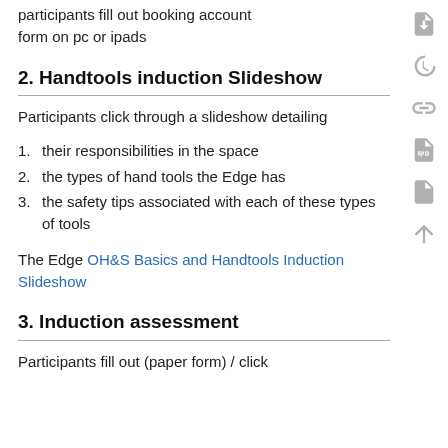participants fill out booking account form on pc or ipads
2. Handtools induction Slideshow
Participants click through a slideshow detailing
their responsibilities in the space
the types of hand tools the Edge has
the safety tips associated with each of these types of tools
The Edge OH&S Basics and Handtools Induction Slideshow
3. Induction assessment
Participants fill out (paper form) / click